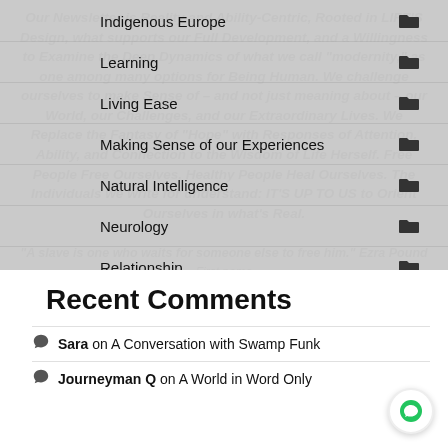Indigenous Europe
Learning
Living Ease
Making Sense of our Experiences
Natural Intelligence
Neurology
Relationship
Slavery
Uncategorized
Our Newsletter is Reality and Ability-Centric, Rooted in LIFE'S Design, what supports our Full Development, and a Willingness to Examine the Deep Dynamics of what we call "modernity," as one among many options for Being Human. We challenge ourselves to make Sense of – and not just meaning about – our World, our Challenges, and our Extraordinary Lives. We Replace the Fantasy of "Hope" with Responses of Attention, Ability, and Connection to the Wisdom of Life Herself. Free People Free Ourselves. Healthy People Heal Ourselves. The Individuals we write for understand: IT'S UP TO US to Orient Ourselves in what's Real.
"A slave is one who waits for someone else to free him." Ezra Pound
First name
Email *
Recent Comments
Sara on A Conversation with Swamp Funk
Journeyman Q on A World in Word Only